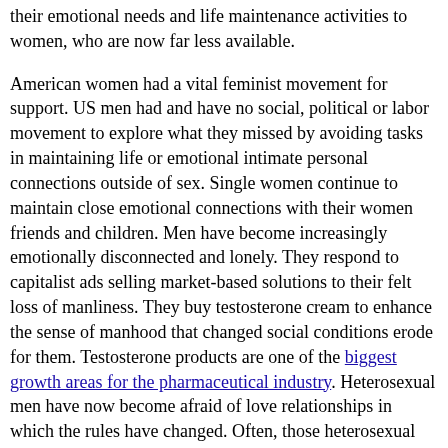their emotional needs and life maintenance activities to women, who are now far less available.
American women had a vital feminist movement for support. US men had and have no social, political or labor movement to explore what they missed by avoiding tasks in maintaining life or emotional intimate personal connections outside of sex. Single women continue to maintain close emotional connections with their women friends and children. Men have become increasingly emotionally disconnected and lonely. They respond to capitalist ads selling market-based solutions to their felt loss of manliness. They buy testosterone cream to enhance the sense of manhood that changed social conditions erode for them. Testosterone products are one of the biggest growth areas for the pharmaceutical industry. Heterosexual men have now become afraid of love relationships in which the rules have changed. Often, those heterosexual relationships were the only emotionally intimacy men had. They do not